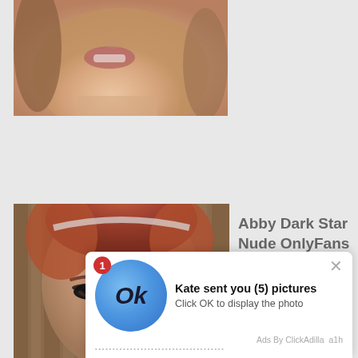[Figure (photo): Close-up photo of a person's lower face/chin tilted upward, skin tones, blurred background]
[Figure (photo): Close-up photo of a redheaded woman with dramatic eye makeup looking at camera, bamboo background]
Abby Dark Star Nude OnlyFans Leaks
[Figure (screenshot): Notification popup overlay with blue circle Ok button and badge saying '1', text: Kate sent you (5) pictures. Click OK to display the photo. Ads By ClickAdilla a1h]